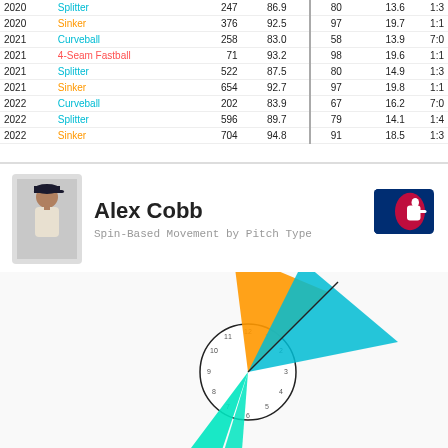| Year | Pitch | # | Velocity |  |  |  |  |
| --- | --- | --- | --- | --- | --- | --- | --- |
| 2020 | Splitter | 247 | 86.9 | 80 |  | 13.6 | 1:3 |
| 2020 | Sinker | 376 | 92.5 | 97 |  | 19.7 | 1:1 |
| 2021 | Curveball | 258 | 83.0 | 58 |  | 13.9 | 7:0 |
| 2021 | 4-Seam Fastball | 71 | 93.2 | 98 |  | 19.6 | 1:1 |
| 2021 | Splitter | 522 | 87.5 | 80 |  | 14.9 | 1:3 |
| 2021 | Sinker | 654 | 92.7 | 97 |  | 19.8 | 1:1 |
| 2022 | Curveball | 202 | 83.9 | 67 |  | 16.2 | 7:0 |
| 2022 | Splitter | 596 | 89.7 | 79 |  | 14.1 | 1:4 |
| 2022 | Sinker | 704 | 94.8 | 91 |  | 18.5 | 1:3 |
Alex Cobb
Spin-Based Movement by Pitch Type
[Figure (radar-chart): Spin-based movement radar/rose chart for Alex Cobb showing pitch directions and movement for Curveball (teal), Sinker (orange), and Split-Finger (cyan) pitch types on a clock-face diagram.]